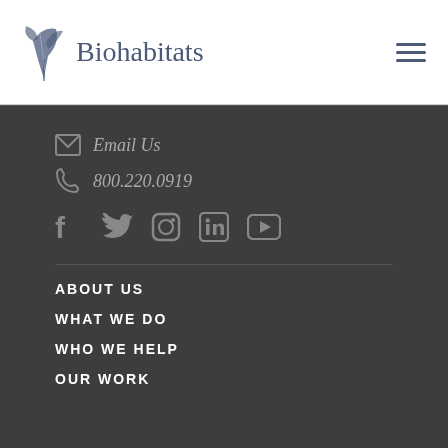[Figure (logo): Biohabitats logo with leaf/oak branch icon and text 'Biohabitats' in serif font]
Email Us
800.220.0919
[Figure (infographic): Social media icons: Facebook, Twitter, Instagram, LinkedIn, YouTube]
ABOUT US
WHAT WE DO
WHO WE HELP
OUR WORK